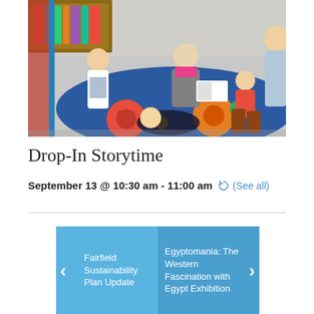[Figure (photo): Children and an elderly woman sitting on a colorful carpet in a library, looking at a book during storytime. A child is lying on the carpet, others are seated around.]
Drop-In Storytime
September 13 @ 10:30 am - 11:00 am (See all)
< Fairfield Sustainability Plan Update    Egyptomania: The Western Fascination with Egypt Exhibition >